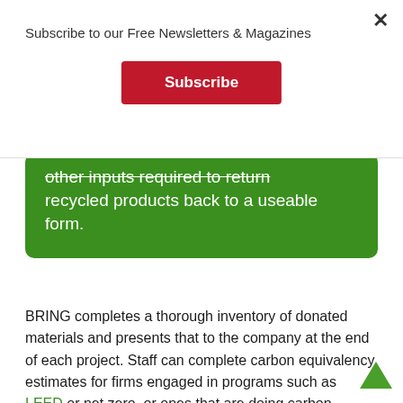Subscribe to our Free Newsletters & Magazines
Subscribe
other inputs required to return recycled products back to a useable form.
BRING completes a thorough inventory of donated materials and presents that to the company at the end of each project. Staff can complete carbon equivalency estimates for firms engaged in programs such as LEED or net zero, or ones that are doing carbon footprint tracking.
If the company wants to incorporate second-hand materials into remodeling or new construction